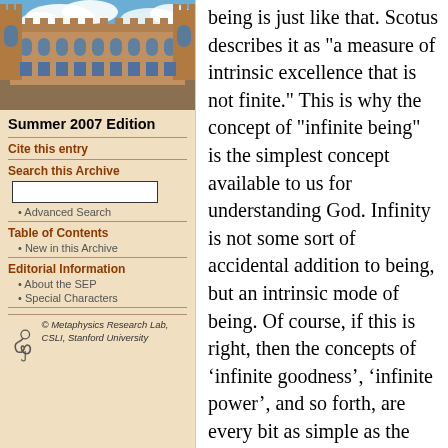[Figure (photo): Photo of a university building (likely Oxford or similar) with blue sky and clouds]
Summer 2007 Edition
Cite this entry
Search this Archive
Advanced Search
Table of Contents
New in this Archive
Editorial Information
About the SEP
Special Characters
[Figure (logo): Metaphysics Research Lab, CSLI, Stanford University logo with stylized figure]
being is just like that. Scotus describes it as "a measure of intrinsic excellence that is not finite." This is why the concept of "infinite being" is the simplest concept available to us for understanding God. Infinity is not some sort of accidental addition to being, but an intrinsic mode of being. Of course, if this is right, then the concepts of ‘infinite goodness’, ‘infinite power’, and so forth, are every bit as simple as the concept of ‘infinite being’. So why does Scotus make such a big deal about ‘infinite being’? Because ‘infinite being’ "virtually contains" all the other infinite perfections of God. That